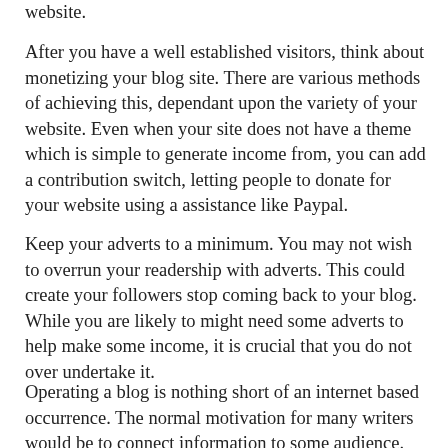website.
After you have a well established visitors, think about monetizing your blog site. There are various methods of achieving this, dependant upon the variety of your website. Even when your site does not have a theme which is simple to generate income from, you can add a contribution switch, letting people to donate for your website using a assistance like Paypal.
Keep your adverts to a minimum. You may not wish to overrun your readership with adverts. This could create your followers stop coming back to your blog. While you are likely to might need some adverts to help make some income, it is crucial that you do not over undertake it.
Operating a blog is nothing short of an internet based occurrence. The normal motivation for many writers would be to connect information to some audience. Utilize the